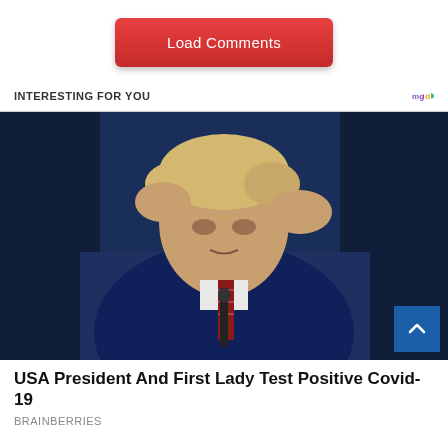[Figure (other): Red 'Load Comments' button centered on page]
INTERESTING FOR YOU
[Figure (photo): Photo of a man in dark suit gesturing with both hands raised, speaking at a podium with microphone, against a dark blue background]
USA President And First Lady Test Positive Covid-19
BRAINBERRIES